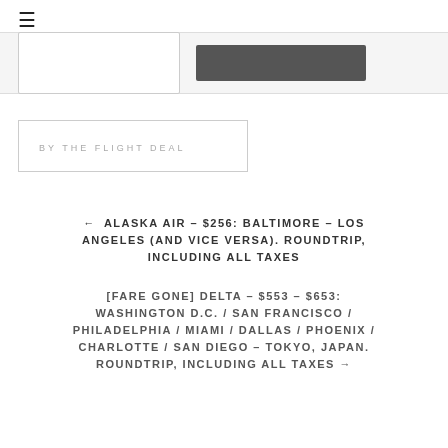≡
BY THE FLIGHT DEAL
← ALASKA AIR – $256: BALTIMORE – LOS ANGELES (AND VICE VERSA). ROUNDTRIP, INCLUDING ALL TAXES
[FARE GONE] DELTA – $553 – $653: WASHINGTON D.C. / SAN FRANCISCO / PHILADELPHIA / MIAMI / DALLAS / PHOENIX / CHARLOTTE / SAN DIEGO – TOKYO, JAPAN. ROUNDTRIP, INCLUDING ALL TAXES →